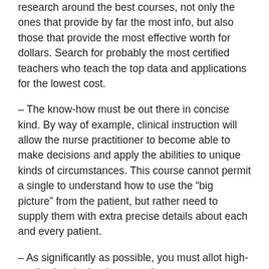research around the best courses, not only the ones that provide by far the most info, but also those that provide the most effective worth for dollars. Search for probably the most certified teachers who teach the top data and applications for the lowest cost.
– The know-how must be out there in concise kind. By way of example, clinical instruction will allow the nurse practitioner to become able to make decisions and apply the abilities to unique kinds of circumstances. This course cannot permit a single to understand how to use the “big picture” from the patient, but rather need to supply them with extra precise details about each and every patient.
– As significantly as possible, you must allot high-quality time in the day to evaluate your understanding and also the lessons learned. Make certain which you have sufficient time for you to make use of the